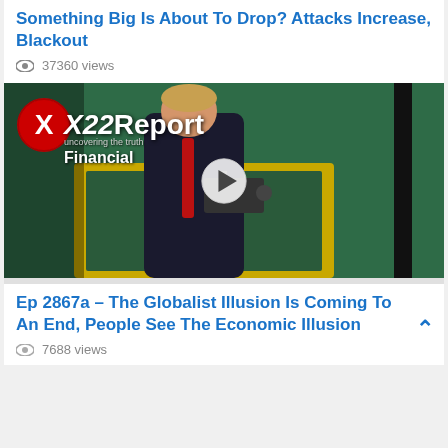Something Big Is About To Drop? Attacks Increase, Blackout
37360 views
[Figure (screenshot): X22 Report Financial video thumbnail showing a person in a dark suit standing at a podium with a yellow border, green background. Overlay shows X22 Report logo with Financial label and a play button.]
Ep 2867a – The Globalist Illusion Is Coming To An End, People See The Economic Illusion
7688 views